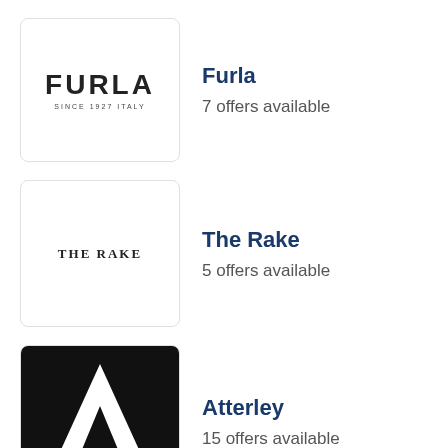[Figure (logo): Furla brand logo — text FURLA SINCE 1927 ITALY inside a rounded rectangle border]
Furla
7 offers available
[Figure (logo): The Rake brand logo — text THE RAKE in serif font inside a rounded rectangle border]
The Rake
5 offers available
[Figure (logo): Atterley brand logo — black square with white letter A graphic inside a rounded rectangle border]
Atterley
15 offers available
Bamboo Watches Offers
Coupons    4
Deals    1